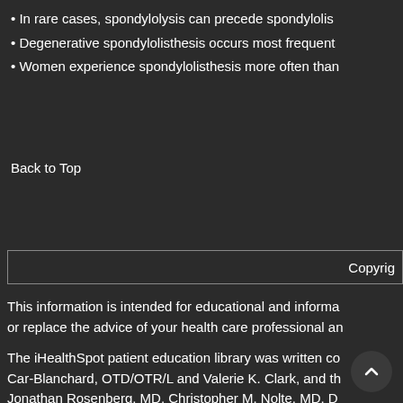In rare cases, spondylolysis can precede spondylolisthesis
Degenerative spondylolisthesis occurs most frequently
Women experience spondylolisthesis more often than
Back to Top
Copyright
This information is intended for educational and informational purposes or replace the advice of your health care professional and
The iHealthSpot patient education library was written co Car-Blanchard, OTD/OTR/L and Valerie K. Clark, and the Jonathan Rosenberg, MD, Christopher M. Nolte, MD, D complies with the HONcode standard for trustworthy he update/addition on April 13th, 2016. For information on i